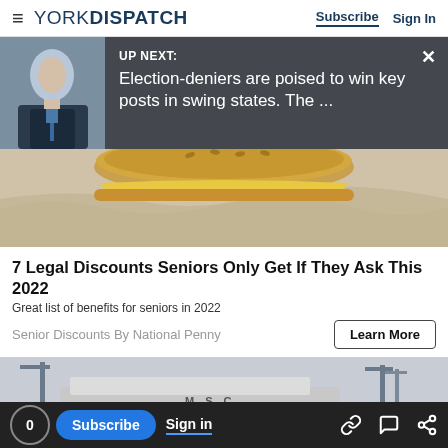YORK DISPATCH — Subscribe | Sign In
[Figure (screenshot): Up Next banner with photo of a man in a suit and text: UP NEXT: Election-deniers are poised to win key posts in swing states. The ...]
[Figure (photo): Close-up photo of a sandwich or food item on crinkled white paper]
7 Legal Discounts Seniors Only Get If They Ask This 2022
Great list of benefits for seniors in 2022
Senior Discounts By National Penny
[Figure (photo): Port/shipping yard photo with large MSC ship and cranes in background]
0  Subscribe  Sign in  [link icon] [comment icon] [share icon]